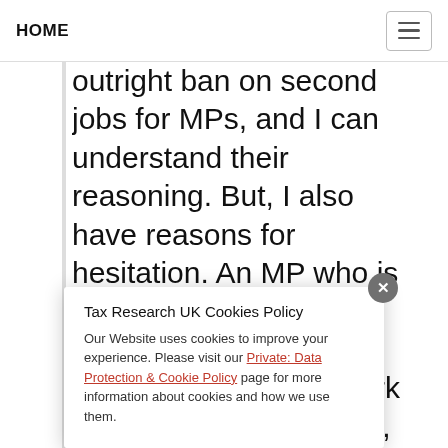HOME
outright ban on second jobs for MPs, and I can understand their reasoning. But, I also have reasons for hesitation. An MP who is also a doctor is not, I think, abusing their role as an MP if they do work some hospital sessions, most especially during a medical crisis. And, maybe, an MP who takes on a public duty role outside the House of Commons and who is remunerated for that, are not involved doing nothing more than a private lobbying role, and who is pa…
Tax Research UK Cookies Policy
Our Website uses cookies to improve your experience. Please visit our Private: Data Protection & Cookie Policy page for more information about cookies and how we use them.